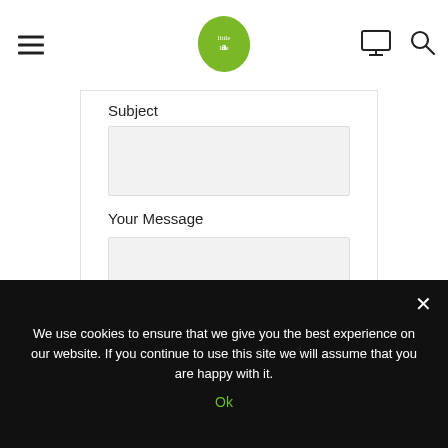[Figure (logo): Green blob-shaped logo in the center of the header, with handwritten-style text inside]
Subject
[Figure (screenshot): Empty text input field with light gray background for Subject]
Your Message
[Figure (screenshot): Large empty textarea with light gray background for Your Message]
We use cookies to ensure that we give you the best experience on our website. If you continue to use this site we will assume that you are happy with it.
Ok